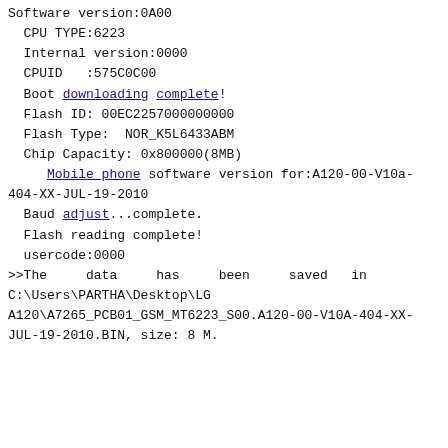Software version:0A00
  CPU TYPE:6223
  Internal version:0000
  CPUID   :575C0C00
  Boot downloading complete!
  Flash ID: 00EC2257000000000
  Flash Type:  NOR_K5L6433ABM
  Chip Capacity: 0x800000(8MB)
     Mobile phone software version for:A120-00-V10a-404-XX-JUL-19-2010
  Baud adjust...complete.
  Flash reading complete!
  usercode:0000
>>The data has been saved in C:\Users\PARTHA\Desktop\LG A120\A7265_PCB01_GSM_MT6223_S00.A120-00-V10A-404-XX-JUL-19-2010.BIN, size: 8 M.